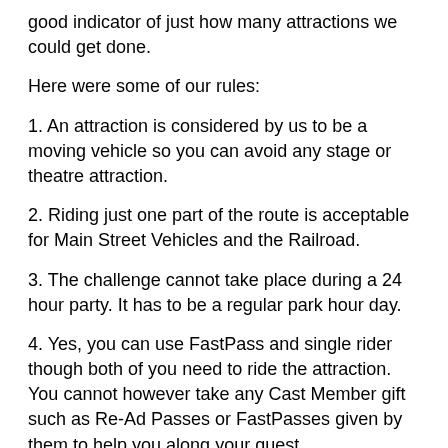good indicator of just how many attractions we could get done.
Here were some of our rules:
1. An attraction is considered by us to be a moving vehicle so you can avoid any stage or theatre attraction.
2. Riding just one part of the route is acceptable for Main Street Vehicles and the Railroad.
3. The challenge cannot take place during a 24 hour party. It has to be a regular park hour day.
4. Yes, you can use FastPass and single rider though both of you need to ride the attraction. You cannot however take any Cast Member gift such as Re-Ad Passes or FastPasses given by them to help you along your quest.
5. No attraction can be down for refurbishment. You have to pick a day when everything is scheduled to be open. For purposes of our test, we just picked a day to see how many